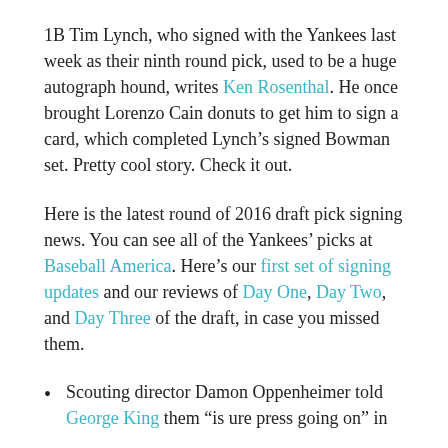1B Tim Lynch, who signed with the Yankees last week as their ninth round pick, used to be a huge autograph hound, writes Ken Rosenthal. He once brought Lorenzo Cain donuts to get him to sign a card, which completed Lynch’s signed Bowman set. Pretty cool story. Check it out.
Here is the latest round of 2016 draft pick signing news. You can see all of the Yankees’ picks at Baseball America. Here’s our first set of signing updates and our reviews of Day One, Day Two, and Day Three of the draft, in case you missed them.
Scouting director Damon Oppenheimer told George King them “is ure press going on” in